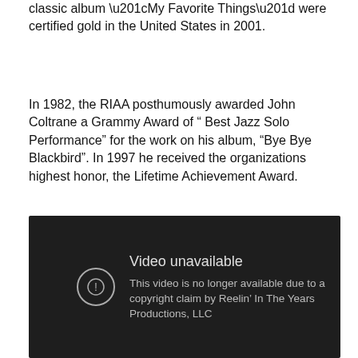classic album “My Favorite Things” were certified gold in the United States in 2001.
In 1982, the RIAA posthumously awarded John Coltrane a Grammy Award of “ Best Jazz Solo Performance” for the work on his album, “Bye Bye Blackbird”. In 1997 he received the organizations highest honor, the Lifetime Achievement Award.
[Figure (screenshot): Embedded video player showing 'Video unavailable' message: 'This video is no longer available due to a copyright claim by Reelin’ In The Years Productions, LLC']